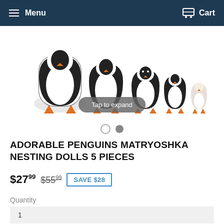Menu   Cart
[Figure (photo): Five penguin-themed matryoshka nesting dolls arranged by decreasing size, showing painted penguin designs with orange feet and beaks on white/black bodies]
Tap to expand
ADORABLE PENGUINS MATRYOSHKA NESTING DOLLS 5 PIECES
$27.99  $55.99  SAVE $28
Quantity
1